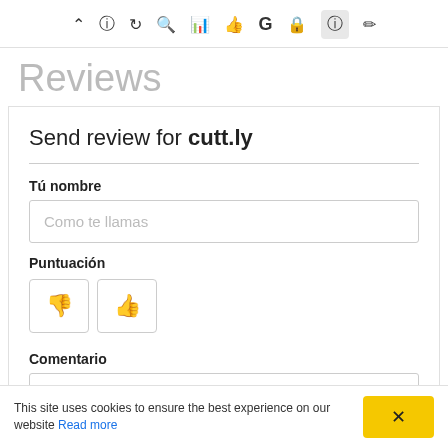[Figure (screenshot): Browser toolbar with icons: chevron up, info, refresh, search, chart, thumbs-up, G (Google), lock, question mark (highlighted), pencil]
Reviews
Send review for cutt.ly
Tú nombre
Como te llamas
Puntuación
[Figure (illustration): Two square buttons: thumbs down icon and thumbs up icon]
Comentario
Escribenos su experiencia con este sitio
This site uses cookies to ensure the best experience on our website Read more